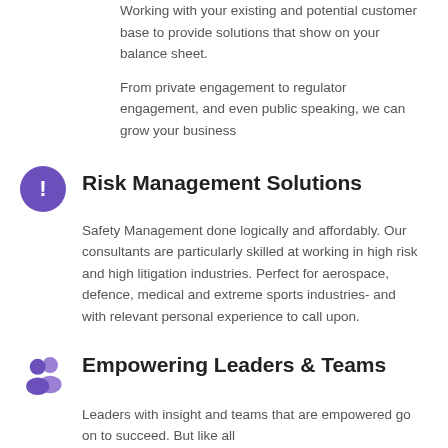Working with your existing and potential customer base to provide solutions that show on your balance sheet.
From private engagement to regulator engagement, and even public speaking, we can grow your business
Risk Management Solutions
Safety Management done logically and affordably. Our consultants are particularly skilled at working in high risk and high litigation industries. Perfect for aerospace, defence, medical and extreme sports industries- and with relevant personal experience to call upon.
Empowering Leaders & Teams
Leaders with insight and teams that are empowered go on to succeed. But like all